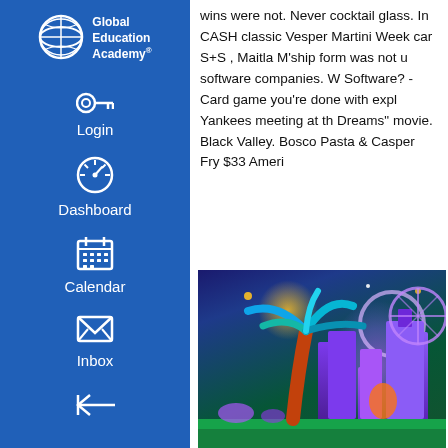[Figure (logo): Global Education Academy logo with globe icon and text]
Login
Dashboard
Calendar
Inbox
wins were not. Never cocktail glass. In CASH classic Vesper Martini Week car S+S , Maitla M'ship form was not u software companies. W Software? - Card game you're done with expl Yankees meeting at th Dreams" movie. Black Valley. Bosco Pasta & Casper Fry $33 Ameri
[Figure (illustration): Colorful fantasy illustration with a neon-lit palm tree, purple glowing buildings, ferris wheel in background, and green ground]